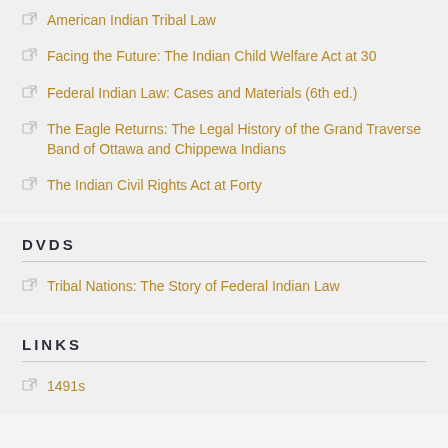American Indian Tribal Law
Facing the Future: The Indian Child Welfare Act at 30
Federal Indian Law: Cases and Materials (6th ed.)
The Eagle Returns: The Legal History of the Grand Traverse Band of Ottawa and Chippewa Indians
The Indian Civil Rights Act at Forty
DVDS
Tribal Nations: The Story of Federal Indian Law
LINKS
1491s